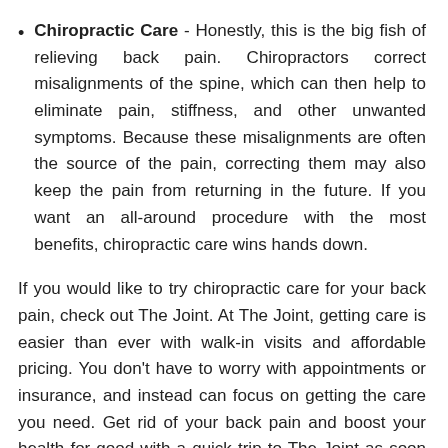Chiropractic Care - Honestly, this is the big fish of relieving back pain. Chiropractors correct misalignments of the spine, which can then help to eliminate pain, stiffness, and other unwanted symptoms. Because these misalignments are often the source of the pain, correcting them may also keep the pain from returning in the future. If you want an all-around procedure with the most benefits, chiropractic care wins hands down.
If you would like to try chiropractic care for your back pain, check out The Joint. At The Joint, getting care is easier than ever with walk-in visits and affordable pricing. You don't have to worry with appointments or insurance, and instead can focus on getting the care you need. Get rid of your back pain and boost your health for good with a quick trip to The Joint as soon as today.